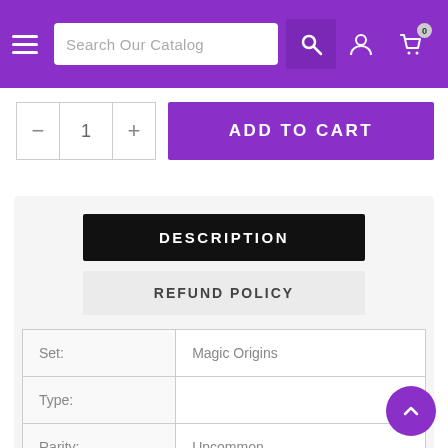Search Our Catalog
ADD TO CART
DESCRIPTION
REFUND POLICY
|  |  |
| --- | --- |
| Set: | Magic Origins |
| Type: |  |
| Rarity: | Uncommon |
| Cost: |  |